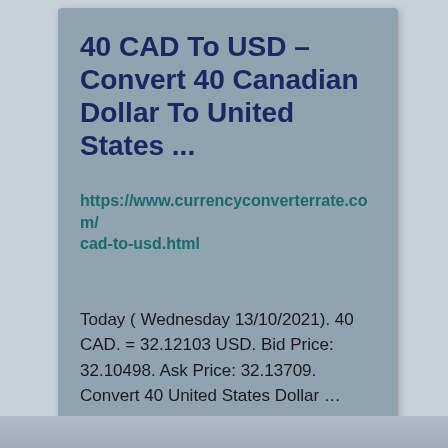40 CAD To USD – Convert 40 Canadian Dollar To United States ...
https://www.currencyconverterrate.com/cad-to-usd.html
Today ( Wednesday 13/10/2021). 40 CAD. = 32.12103 USD. Bid Price: 32.10498. Ask Price: 32.13709. Convert 40 United States Dollar ...